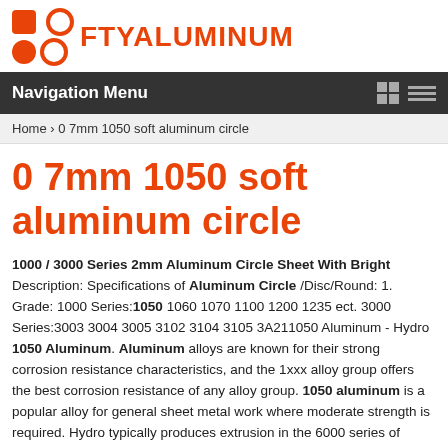[Figure (logo): FTYALUMINUM logo with orange circle/square icon and orange text]
Navigation Menu
Home › 0 7mm 1050 soft aluminum circle
0 7mm 1050 soft aluminum circle
1000 / 3000 Series 2mm Aluminum Circle Sheet With Bright Description: Specifications of Aluminum Circle /Disc/Round: 1. Grade: 1000 Series:1050 1060 1070 1100 1200 1235 ect. 3000 Series:3003 3004 3005 3102 3104 3105 3A211050 Aluminum - Hydro 1050 Aluminum. Aluminum alloys are known for their strong corrosion resistance characteristics, and the 1xxx alloy group offers the best corrosion resistance of any alloy group. 1050 aluminum is a popular alloy for general sheet metal work where moderate strength is required. Hydro typically produces extrusion in the 6000 series of alloys.1050 H0 Soft 1.0mm Thick Aluminum Circle - Manufacturers 1050 H0 Soft 1.0mm Thick Aluminum Circle Manufacturers, Factory, Suppliers From China, Through our